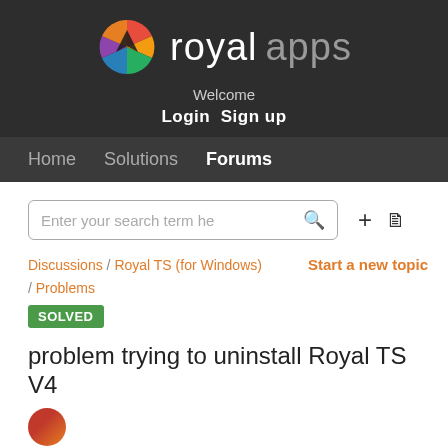[Figure (logo): Royal Apps logo with colorful pinwheel/crown icon and text 'royal apps' on dark background]
Welcome
Login  Sign up
Home   Solutions   Forums
Enter your search term here
Discussions / Royal TS (for Windows) / Problems
Start a new topic
SOLVED
problem trying to uninstall Royal TS V4